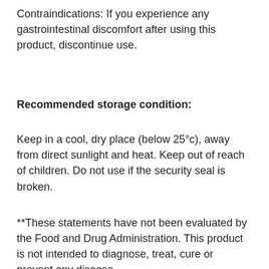Contraindications: If you experience any gastrointestinal discomfort after using this product, discontinue use.
Recommended storage condition:
Keep in a cool, dry place (below 25°c), away from direct sunlight and heat. Keep out of reach of children. Do not use if the security seal is broken.
**These statements have not been evaluated by the Food and Drug Administration. This product is not intended to diagnose, treat, cure or prevent any disease.
Barcode:
30 V. Caps: 629381011200